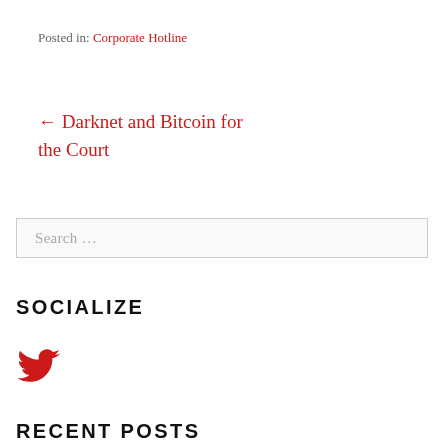Posted in: Corporate Hotline
← Darknet and Bitcoin for the Court
Search …
SOCIALIZE
[Figure (illustration): Red Twitter bird icon]
RECENT POSTS